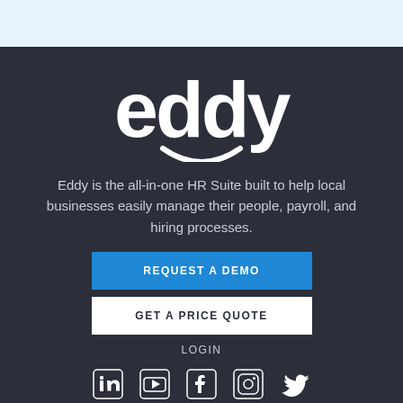[Figure (logo): Eddy logo — white rounded lettering 'eddy' with a smiley-face arc beneath, on dark background]
Eddy is the all-in-one HR Suite built to help local businesses easily manage their people, payroll, and hiring processes.
REQUEST A DEMO
GET A PRICE QUOTE
LOGIN
[Figure (illustration): Row of social media icons: LinkedIn, YouTube, Facebook, Instagram, Twitter]
• 855-775-3009